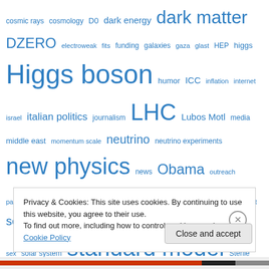[Figure (infographic): Tag cloud with physics/science blog topics in varying font sizes, all in blue. Tags include: cosmic rays, cosmology, D0, dark energy, dark matter, DZERO, electroweak, fits, funding, galaxies, gaza, glast, HEP, higgs, Higgs boson, humor, ICC, inflation, internet, israel, italian politics, journalism, LHC, Lubos Motl, media, middle east, momentum scale, neutrino, neutrino experiments, new physics, news, Obama, outreach, palestinians, PDF, PPC2008, pulsars, QCD, quotes, sci.bzaar.net, science outreach, science reporting, scientific blogging, sex, solar system, standard model, Sterile neutrinos]
Privacy & Cookies: This site uses cookies. By continuing to use this website, you agree to their use.
To find out more, including how to control cookies, see here: Cookie Policy